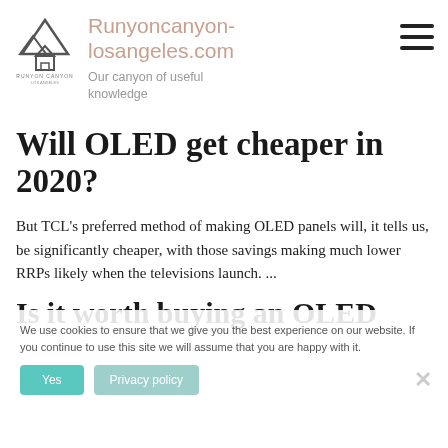Runyoncanyon-losangeles.com
Our canyon of useful knowledge
Will OLED get cheaper in 2020?
But TCL's preferred method of making OLED panels will, it tells us, be significantly cheaper, with those savings making much lower RRPs likely when the televisions launch. ...
Is it worth buying an OLED
We use cookies to ensure that we give you the best experience on our website. If you continue to use this site we will assume that you are happy with it.